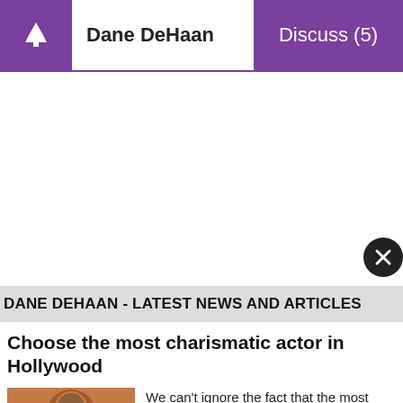Dane DeHaan
Discuss (5)
[Figure (other): White advertisement/content area with a circular close button (X) at the bottom right]
DANE DEHAAN - LATEST NEWS AND ARTICLES
Choose the most charismatic actor in Hollywood
[Figure (photo): Photo of a person, warm brown/orange background, partial view of face with dark hair]
We can't ignore the fact that the most famous actors of the present